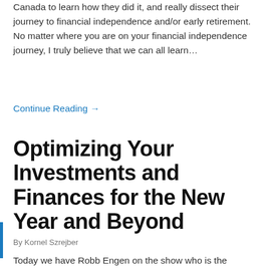Canada to learn how they did it, and really dissect their journey to financial independence and/or early retirement.  No matter where you are on your financial independence journey, I truly believe that we can all learn…
Continue Reading →
Optimizing Your Investments and Finances for the New Year and Beyond
By Kornel Szrejber
Today we have Robb Engen on the show who is the